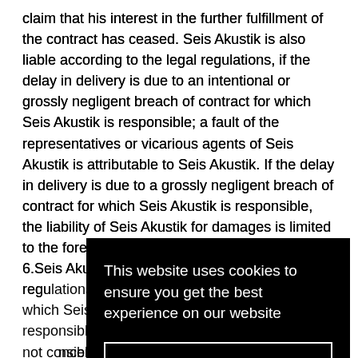claim that his interest in the further fulfillment of the contract has ceased. Seis Akustik is also liable according to the legal regulations, if the delay in delivery is due to an intentional or grossly negligent breach of contract for which Seis Akustik is responsible; a fault of the representatives or vicarious agents of Seis Akustik is attributable to Seis Akustik. If the delay in delivery is due to a grossly negligent breach of contract for which Seis Akustik is responsible, the liability of Seis Akustik for damages is limited to the foreseeable, typically occurring damage. 6.Seis Akustik is also liable according to the legal regulations, for culpably caused personal injuries. In the case of a slightly negligent breach of duty that does not concern an essential obligation, the liability of Seis Akustik for damages is limited to the foreseeable, typically occurring damage. 7. In addition, the customer as a result, demand lump-sum compensation amounting to
[Figure (screenshot): Cookie consent overlay on dark background with text 'This website uses cookies to ensure you get the best experience on our website' and a 'Got it!' button with white border.]